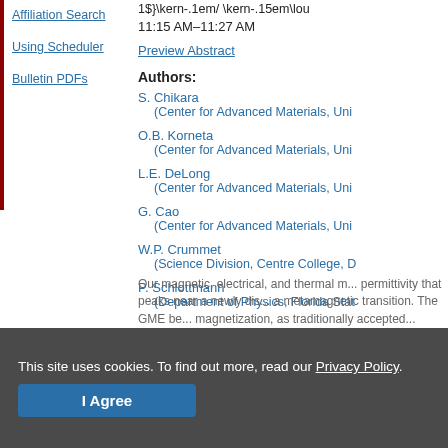1$}\kern-.1em/ \kern-.15em\lo
11:15 AM–11:27 AM
Preview Abstract
Authors:
S. Chikara
(Center for Advanced Materials, Uni
O.B. Korneta
(Center for Advanced Materials, Uni
L.E. DeLong
(Center for Advanced Materials, Uni
G. Cao
(Center for Advanced Materials, Uni
W.P. Crummet
(Science Division, Centre College, D
P. Schlottmann
(Department of Physics, Florida Stat
Our magnetic, electrical, and thermal m... permittivity that peaks near a newly dis... a metamagnetic transition. The GME be... magnetization, as traditionally accepted...
This site uses cookies. To find out more, read our Privacy Policy.